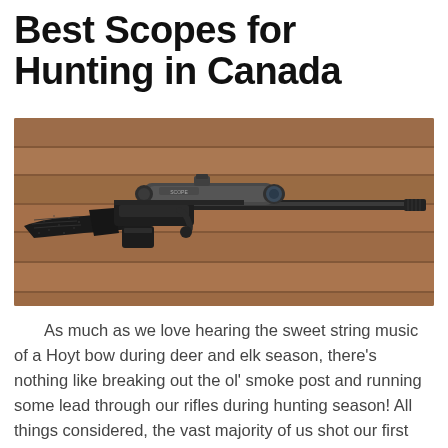Best Scopes for Hunting in Canada
[Figure (photo): A bolt-action rifle with a scope mounted on top, laid on a wooden plank background. The rifle has a black tactical stock with speckled finish.]
As much as we love hearing the sweet string music of a Hoyt bow during deer and elk season, there's nothing like breaking out the ol' smoke post and running some lead through our rifles during hunting season! All things considered, the vast majority of us shot our first game with a rifle that has been passed down and there's simply something extremely satisfying when you can place that large buck or a mature doe in the focus and pull that trigger. Regardless of what the readers...